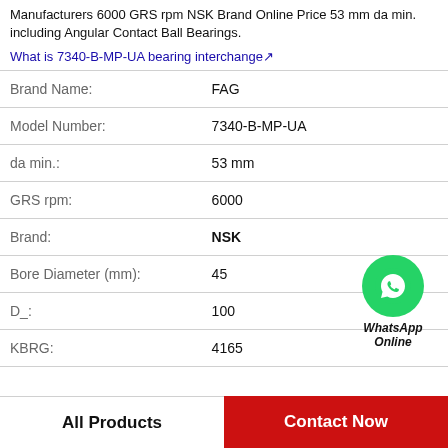Manufacturers 6000 GRS rpm NSK Brand Online Price 53 mm da min. including Angular Contact Ball Bearings.
What is 7340-B-MP-UA bearing interchange↗
| Property | Value |
| --- | --- |
| Brand Name: | FAG |
| Model Number: | 7340-B-MP-UA |
| da min.: | 53 mm |
| GRS rpm: | 6000 |
| Brand: | NSK |
| Bore Diameter (mm): | 45 |
| D_: | 100 |
| KBRG: | 4165 |
[Figure (logo): WhatsApp Online green phone icon with label 'WhatsApp Online']
All Products
Contact Now